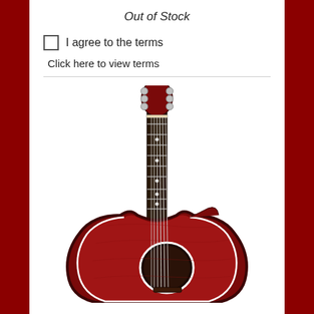Out of Stock
I agree to the terms
Click here to view terms
[Figure (photo): Red acoustic-electric cutaway guitar with quilted maple top, white binding, dark fretboard with dot inlays, silver tuning pegs, and round soundhole. Guitar is shown vertically against a white background.]